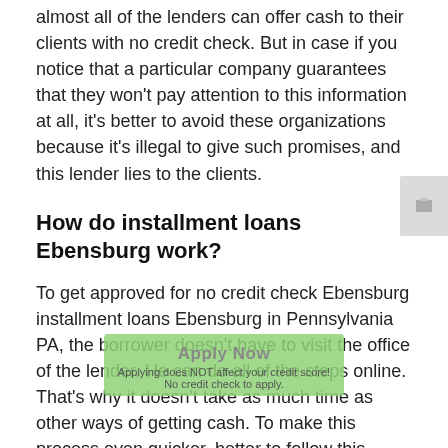almost all of the lenders can offer cash to their clients with no credit check. But in case if you notice that a particular company guarantees that they won't pay attention to this information at all, it's better to avoid these organizations because it's illegal to give such promises, and this lender lies to the clients.
How do installment loans Ebensburg work?
To get approved for no credit check Ebensburg installment loans Ebensburg in Pennsylvania PA, the borrower doesn't have to visit the office of the lender. He can do all of the steps online. That's why it doesn't take as much time as other ways of getting cash. To make this process even quicker, better to follow this simple step by step instruction:
1. Find out the most profitable offer. Since installment loans Ebensburg in Pennsylvania are one of the easiest ways to get cash fast, it's popular among people. That's why there're lots of companies that work in this field. To get